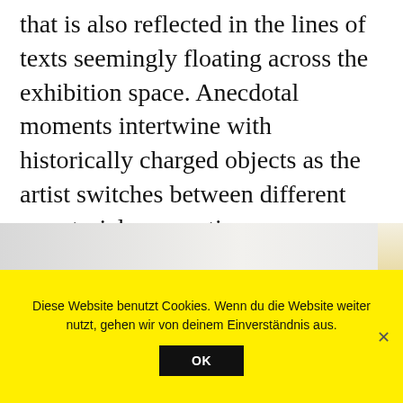that is also reflected in the lines of texts seemingly floating across the exhibition space. Anecdotal moments intertwine with historically charged objects as the artist switches between different narratorial perspectives.
[Figure (photo): Exhibition installation photo showing a white gallery wall with a line of small text floating across it, a small golden circular object mounted below, and a textured golden column or sculpture visible at the right edge.]
Diese Website benutzt Cookies. Wenn du die Website weiter nutzt, gehen wir von deinem Einverständnis aus.